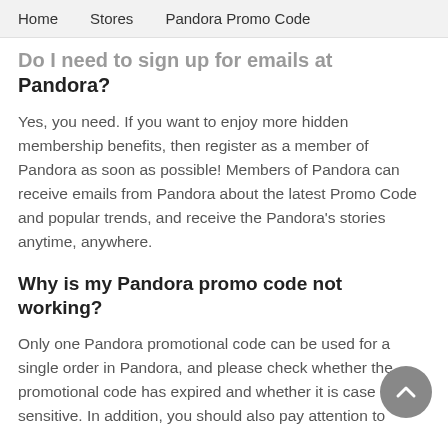Home    Stores    Pandora Promo Code
Do I need to sign up for emails at Pandora?
Yes, you need. If you want to enjoy more hidden membership benefits, then register as a member of Pandora as soon as possible! Members of Pandora can receive emails from Pandora about the latest Promo Code and popular trends, and receive the Pandora's stories anytime, anywhere.
Why is my Pandora promo code not working?
Only one Pandora promotional code can be used for a single order in Pandora, and please check whether the promotional code has expired and whether it is case sensitive. In addition, you should also pay attention to